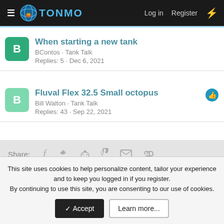TONMO · Log in · Register
When starting a new tank · BContos · Tank Talk · Replies: 5 · Dec 6, 2021
Fluval Flex 32.5 Small octopus · Bill Walton · Tank Talk · Replies: 43 · Sep 22, 2021
Share:
This site uses cookies to help personalize content, tailor your experience and to keep you logged in if you register. By continuing to use this site, you are consenting to our use of cookies.